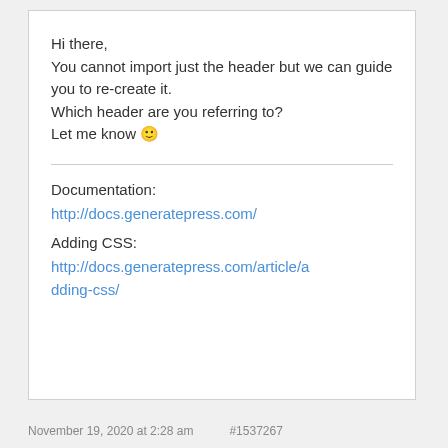Hi there,
You cannot import just the header but we can guide you to re-create it.
Which header are you referring to?
Let me know 🙂
Documentation:
http://docs.generatepress.com/
Adding CSS:
http://docs.generatepress.com/article/adding-css/
November 19, 2020 at 2:28 am    #1537267